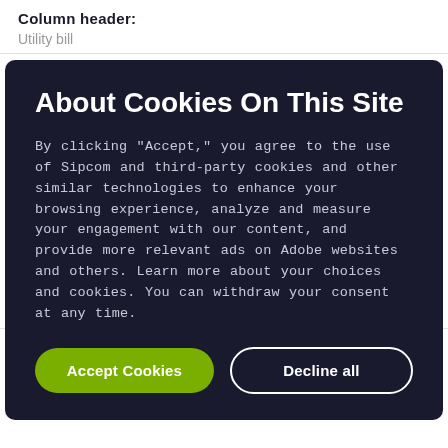Column header:
Utility bill
About Cookies On This Site
By clicking "Accept," you agree to the use of Sipcom and third-party cookies and other similar technologies to enhance your browsing experience, analyze and measure your engagement with our content, and provide more relevant ads on Adobe websites and others. Learn more about your choices and cookies. You can withdraw your consent at any time.
Accept Cookies
Decline all
Column header:
Column header: